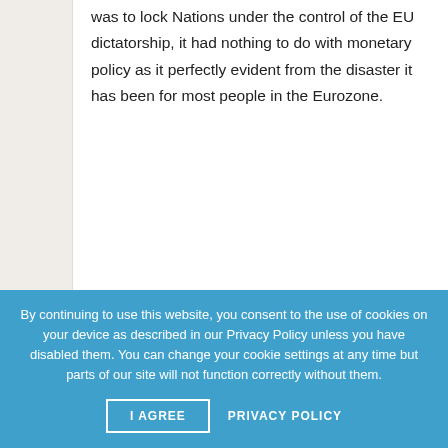was to lock Nations under the control of the EU dictatorship, it had nothing to do with monetary policy as it perfectly evident from the disaster it has been for most people in the Eurozone.
➜ Write a reply
Renato • February 13th, 2018 • 🔗
Ukip? Please resign.
By continuing to use this website, you consent to the use of cookies on your device as described in our Privacy Policy unless you have disabled them. You can change your cookie settings at any time but parts of our site will not function correctly without them.
I AGREE
PRIVACY POLICY